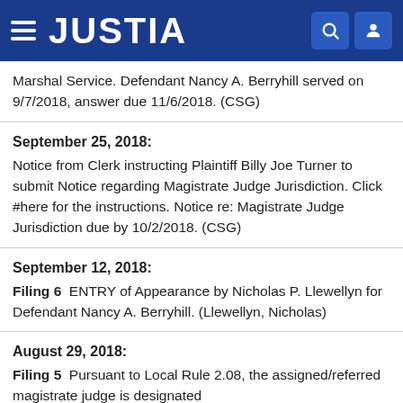JUSTIA
Marshal Service. Defendant Nancy A. Berryhill served on 9/7/2018, answer due 11/6/2018. (CSG)
September 25, 2018:
Notice from Clerk instructing Plaintiff Billy Joe Turner to submit Notice regarding Magistrate Judge Jurisdiction. Click #here for the instructions. Notice re: Magistrate Judge Jurisdiction due by 10/2/2018. (CSG)
September 12, 2018:
Filing 6  ENTRY of Appearance by Nicholas P. Llewellyn for Defendant Nancy A. Berryhill. (Llewellyn, Nicholas)
August 29, 2018:
Filing 5  Pursuant to Local Rule 2.08, the assigned/referred magistrate judge is designated